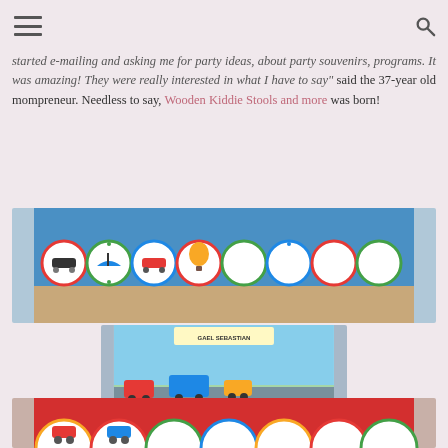started e-mailing and asking me for party ideas, about party souvenirs, programs. It was amazing! They were really interested in what I have to say" said the 37-year old mompreneur. Needless to say, Wooden Kiddie Stools and more was born!
[Figure (photo): Colorful round wooden kiddie stools with transport-themed designs (cars, boats, hot air balloons) arranged in rows, with blue fabric in background]
[Figure (photo): Close-up of a transport-themed birthday cake or decoration item with colorful vehicles (cars, trains) and text that reads Gael Sebastian]
[Figure (photo): More colorful transport-themed round stools with red and yellow colors partially visible at bottom]